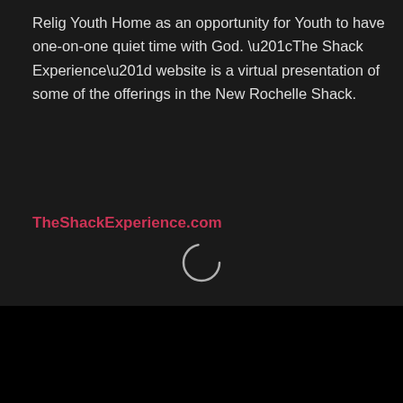Relig Youth Home as an opportunity for Youth to have one-on-one quiet time with God. “The Shack Experience” website is a virtual presentation of some of the offerings in the New Rochelle Shack.
TheShackExperience.com
[Figure (other): A circular spinner/loading icon outline in light gray against a dark background, centered near the bottom of the dark upper section.]